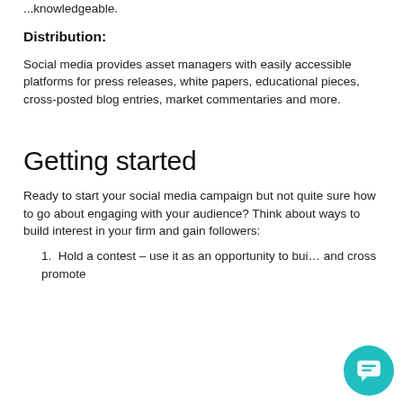...knowledgeable.
Distribution:
Social media provides asset managers with easily accessible platforms for press releases, white papers, educational pieces, cross-posted blog entries, market commentaries and more.
Getting started
Ready to start your social media campaign but not quite sure how to go about engaging with your audience? Think about ways to build interest in your firm and gain followers:
Hold a contest – use it as an opportunity to bui... and cross promote